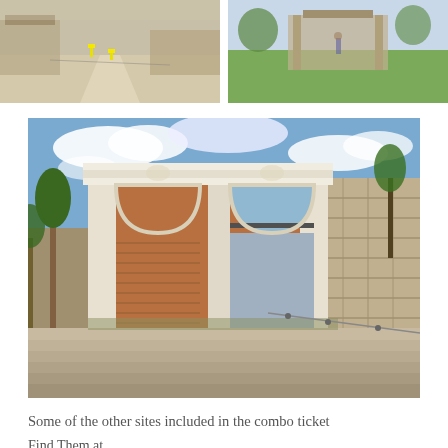[Figure (photo): Top-left photo of an ancient archaeological site with stone ruins and a gravel path, yellow marker signs visible]
[Figure (photo): Top-right photo of a green lawn area with ancient ruins in the background under a clear sky]
[Figure (photo): Large central photo of ancient Roman/Greek ruins showing a standing gateway/archway structure with brick infill arches, stone steps in foreground, blue sky with clouds, trees and modern buildings visible in background]
Some of the other sites included in the combo ticket
Find Them at